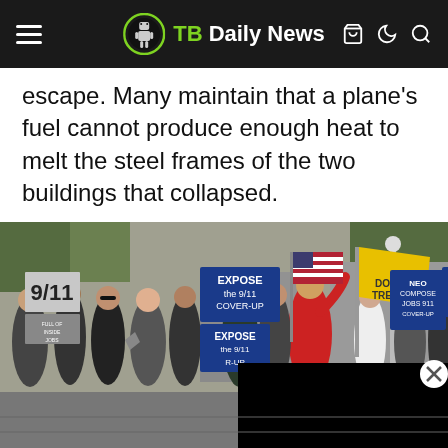TB Daily News
escape. Many maintain that a plane's fuel cannot produce enough heat to melt the steel frames of the two buildings that collapsed.
[Figure (photo): Protest march with people holding signs reading 'EXPOSE the 9/11 COVER-UP', '9/11 TRUTH NOW', 'NEO COMPOSE JOBS 911', and similar protest banners. An American flag and a yellow banner are visible. A man in a red jacket raises his arm. A person in a military uniform is visible in the center.]